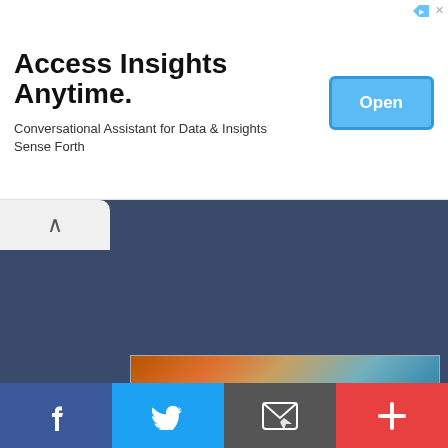[Figure (screenshot): Advertisement banner: 'Access Insights Anytime.' with subtitle 'Conversational Assistant for Data & Insights Sense Forth' and a blue 'Open' button]
[Figure (screenshot): Dark navy blue UI panel with a light gray tab showing an upward caret arrow at top-left]
[Figure (screenshot): Hotels.com advertisement overlay showing beach vacation scene with text 'Find your perfect somewhere' and 'BOOK NOW' button]
[Figure (screenshot): Bottom social sharing bar with Facebook, Twitter, email, and plus buttons]